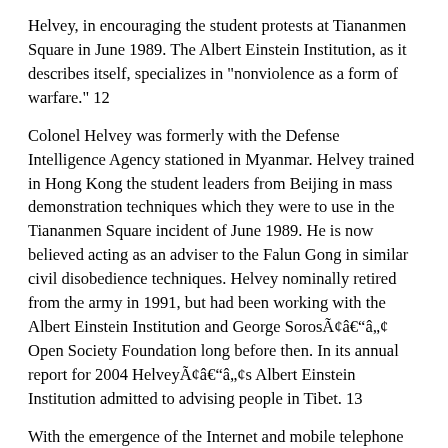Helvey, in encouraging the student protests at Tiananmen Square in June 1989. The Albert Einstein Institution, as it describes itself, specializes in "nonviolence as a form of warfare." 12
Colonel Helvey was formerly with the Defense Intelligence Agency stationed in Myanmar. Helvey trained in Hong Kong the student leaders from Beijing in mass demonstration techniques which they were to use in the Tiananmen Square incident of June 1989. He is now believed acting as an adviser to the Falun Gong in similar civil disobedience techniques. Helvey nominally retired from the army in 1991, but had been working with the Albert Einstein Institution and George SorosÃ¢â¬â¢ Open Society Foundation long before then. In its annual report for 2004 HelveyÃ¢â¬â¢s Albert Einstein Institution admitted to advising people in Tibet. 13
With the emergence of the Internet and mobile telephone use, the US Pentagon has refined an entirely new form of regime change and political destabilization. As one researcher of the phenomenon behind the wave of color revolutions, Jonathan Mowat, describes it,
Ã¢â¬Å...What we are seeing is civilian application of Secretary Donald Rumsfeld's "Revolution in Military Affairs" doctrine, which depends on highly mobile small group deployments